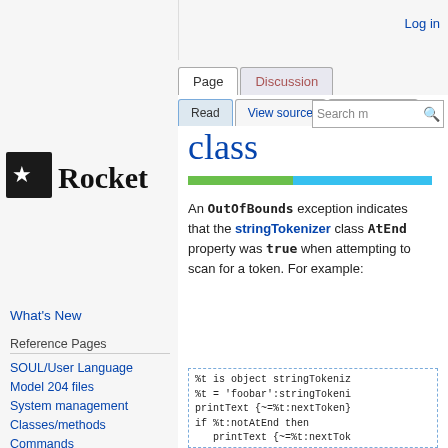Log in
[Figure (logo): Rocket logo with star icon and text 'Rocket']
What's New
Reference Pages
SOUL/User Language
Model 204 files
System management
Classes/methods
Commands
class
An OutOfBounds exception indicates that the stringTokenizer class AtEnd property was true when attempting to scan for a token. For example:
%t is object stringTokeniz
%t = 'foobar':stringTokeni
printText {~=%t:nextToken}
if %t:notAtEnd then
   printText {~=%t:nextTok